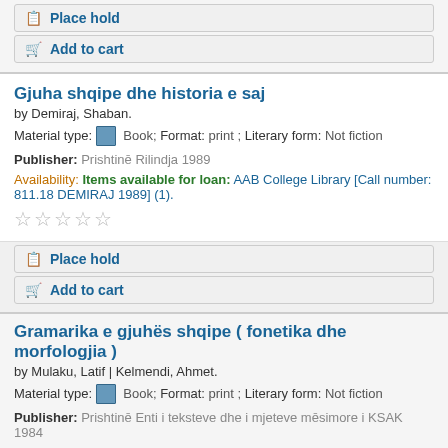Place hold
Add to cart
Gjuha shqipe dhe historia e saj
by Demiraj, Shaban.
Material type: Book; Format: print ; Literary form: Not fiction
Publisher: Prishtinē Rilindja 1989
Availability: Items available for loan: AAB College Library [Call number: 811.18 DEMIRAJ 1989] (1).
Place hold
Add to cart
Gramarika e gjuhës shqipe ( fonetika dhe morfologjia )
by Mulaku, Latif | Kelmendi, Ahmet.
Material type: Book; Format: print ; Literary form: Not fiction
Publisher: Prishtinē Enti i teksteve dhe i mjeteve mēsimore i KSAK 1984
Availability: Items available for loan: AAB College Library [Call number: 811.18 MULAKU 1984] (1).
Place hold
Add to cart